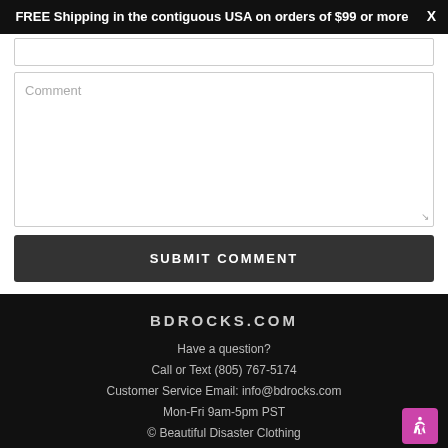FREE Shipping in the contiguous USA on orders of $99 or more
Comment
SUBMIT COMMENT
BDROCKS.COM
Have a question?
Call or Text (805) 767-5174
Customer Service Email: info@bdrocks.com
Mon-Fri 9am-5pm PST
© Beautiful Disaster Clothing